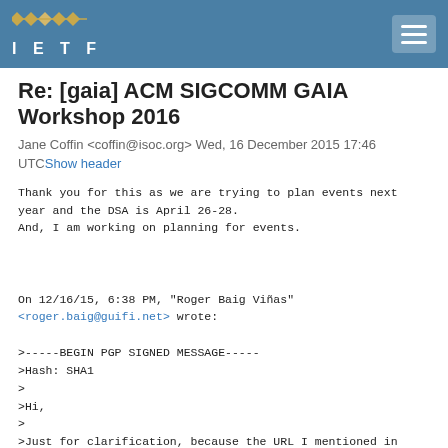IETF
Re: [gaia] ACM SIGCOMM GAIA Workshop 2016
Jane Coffin <coffin@isoc.org> Wed, 16 December 2015 17:46 UTC Show header
Thank you for this as we are trying to plan events next year and the DSA is April 26-28.
And, I am working on planning for events.


On 12/16/15, 6:38 PM, "Roger Baig Viñas"
<roger.baig@guifi.net> wrote:

>-----BEGIN PGP SIGNED MESSAGE-----
>Hash: SHA1
>
>Hi,
>
>Just for clarification, because the URL I mentioned in my previous mail
>is still under construction and its info is not updated.
The CNBuB2016